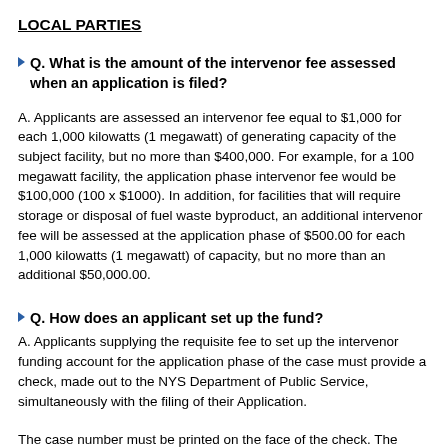LOCAL PARTIES
Q. What is the amount of the intervenor fee assessed when an application is filed?
A. Applicants are assessed an intervenor fee equal to $1,000 for each 1,000 kilowatts (1 megawatt) of generating capacity of the subject facility, but no more than $400,000. For example, for a 100 megawatt facility, the application phase intervenor fee would be $100,000 (100 x $1000). In addition, for facilities that will require storage or disposal of fuel waste byproduct, an additional intervenor fee will be assessed at the application phase of $500.00 for each 1,000 kilowatts (1 megawatt) of capacity, but no more than an additional $50,000.00.
Q. How does an applicant set up the fund?
A. Applicants supplying the requisite fee to set up the intervenor funding account for the application phase of the case must provide a check, made out to the NYS Department of Public Service, simultaneously with the filing of their Application.
The case number must be printed on the face of the check. The check must be delivered to the Director of the DPS Office of Finance and Budget, under cover of a letter stating the amount of the check and the Article 10 case name and number. The letter